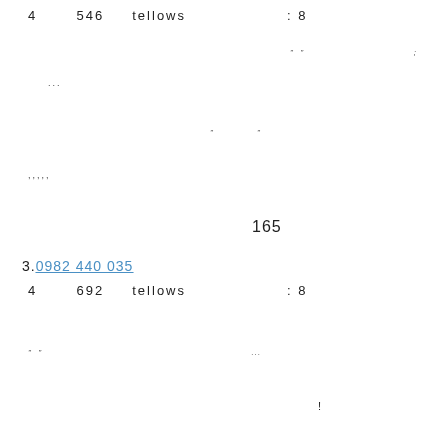4    546    tellows                  : 8
" "                                          ;
...
"          "
,,,,,
165
3.0982 440 035
4    692    tellows                  : 8
"  "                                          ...
!